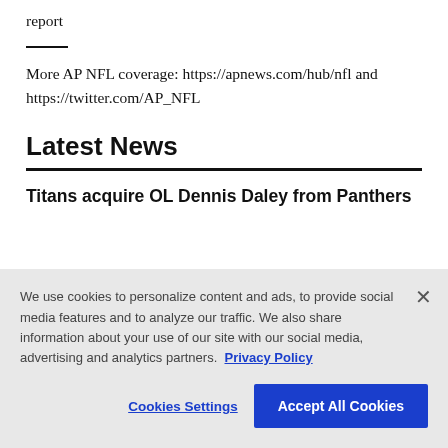report
More AP NFL coverage: https://apnews.com/hub/nfl and https://twitter.com/AP_NFL
Latest News
Titans acquire OL Dennis Daley from Panthers
We use cookies to personalize content and ads, to provide social media features and to analyze our traffic. We also share information about your use of our site with our social media, advertising and analytics partners. Privacy Policy
Cookies Settings | Accept All Cookies